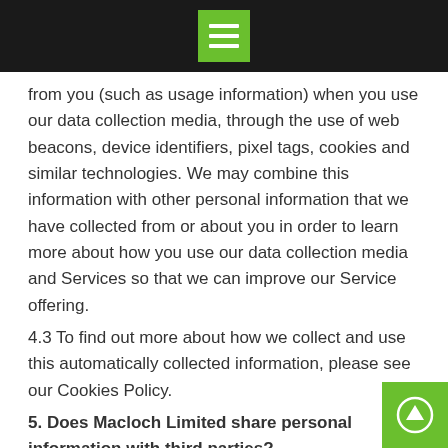Menu
from you (such as usage information) when you use our data collection media, through the use of web beacons, device identifiers, pixel tags, cookies and similar technologies. We may combine this information with other personal information that we have collected from or about you in order to learn more about how you use our data collection media and Services so that we can improve our Service offering.
4.3 To find out more about how we collect and use this automatically collected information, please see our Cookies Policy.
5. Does Macloch Limited share personal information with third parties?
5.1 Your personal information will be made available